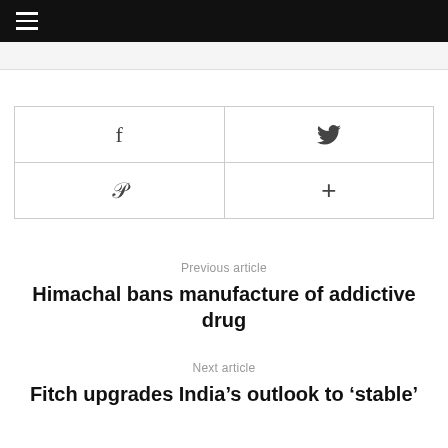[Figure (other): Social share buttons grid: Facebook (f), Twitter (bird icon), Pinterest (p), and plus (+) button]
Previous article
Himachal bans manufacture of addictive drug
Next article
Fitch upgrades India's outlook to 'stable'